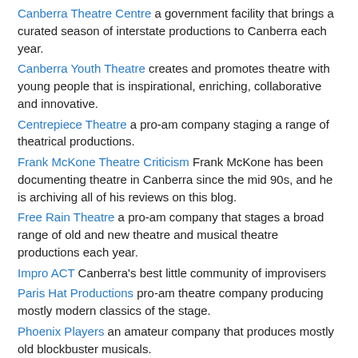Canberra Theatre Centre a government facility that brings a curated season of interstate productions to Canberra each year.
Canberra Youth Theatre creates and promotes theatre with young people that is inspirational, enriching, collaborative and innovative.
Centrepiece Theatre a pro-am company staging a range of theatrical productions.
Frank McKone Theatre Criticism Frank McKone has been documenting theatre in Canberra since the mid 90s, and he is archiving all of his reviews on this blog.
Free Rain Theatre a pro-am company that stages a broad range of old and new theatre and musical theatre productions each year.
Impro ACT Canberra's best little community of improvisers
Paris Hat Productions pro-am theatre company producing mostly modern classics of the stage.
Phoenix Players an amateur company that produces mostly old blockbuster musicals.
Supa Productions an amateur company that produces mostly old blockbuster musicals.
The Q stages a range of professional, pro-am and amateur productions, some curated and others produced locally.